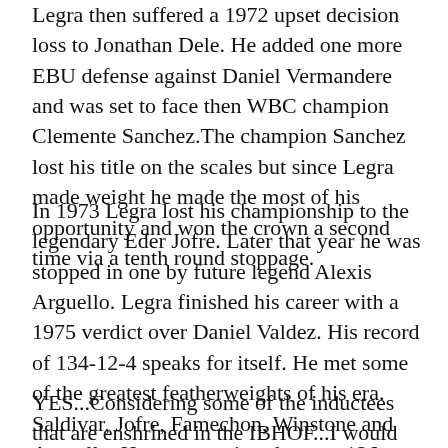Legra then suffered a 1972 upset decision loss to Jonathan Dele. He added one more EBU defense against Daniel Vermandere and was set to face then WBC champion Clemente Sanchez.The champion Sanchez lost his title on the scales but since Legra made weight he made the most of his opportunity and won the crown a second time via a tenth round stoppage.
In 1973 Legra lost his championship to the legendary Eder Jofre. Later that year he was stopped in one by future legend Alexis Arguello. Legra finished his career with a 1975 verdict over Daniel Valdez. His record of 134-12-4 speaks for itself. He met some of the greatest featherweights of his era. Saldivar, Jofre, Famechon, Winstone and Arguello. He was a major player at 126 pounds for what seemed like forever.
YES...Considering some of the inductees that are enshrined in the IBHOF...I would vote for Legra in a heartbeat!